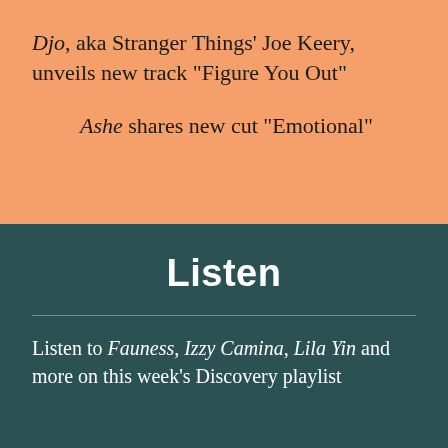Djo, aka Stranger Things' Joe Keery, unveils new track "Figure You Out"
Ashe shares new cut "Emotional"
Listen
Listen to Fauness, Izzy Camina, Lila Yin and more on this week's Discovery playlist